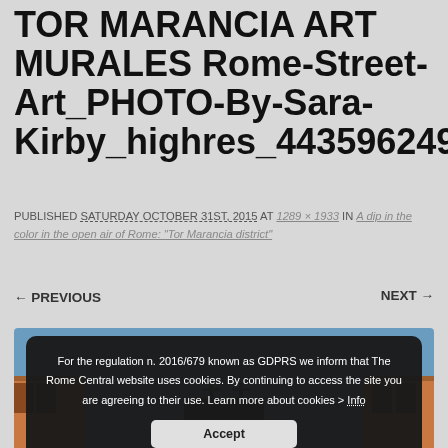TOR MARANCIA ART MURALES Rome-Street-Art_PHOTO-By-Sara-Kirby_highres_443596249
PUBLISHED SATURDAY OCTOBER 31ST, 2015 AT 1289 × 1933 IN A dip in the color in the open air of Rome: "Tor Marancia district"
← PREVIOUS   NEXT →
[Figure (photo): Photograph of street art in Tor Marancia district, Rome, showing buildings with colorful murals against a blue sky. A dark GDPR/cookie consent overlay is shown on top of the image.]
For the regulation n. 2016/679 known as GDPRS we inform that The Rome Central website uses cookies. By continuing to access the site you are agreeing to their use. Learn more about cookies > Info
Accept